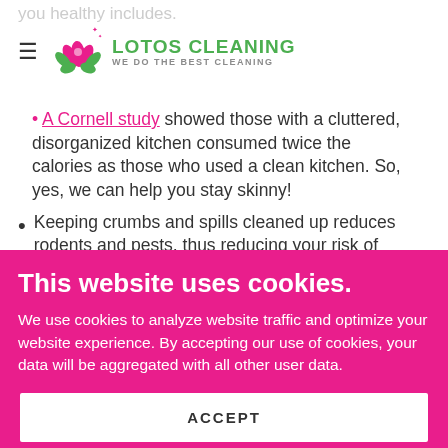you healthy includes.
[Figure (logo): Lotos Cleaning logo with lotus flower in pink/green and text 'LOTOS CLEANING - WE DO THE BEST CLEANING']
A Cornell study showed those with a cluttered, disorganized kitchen consumed twice the calories as those who used a clean kitchen. So, yes, we can help you stay skinny!
Keeping crumbs and spills cleaned up reduces rodents and pests, thus reducing your risk of bacteria and parasites these unwanted guests
This website uses cookies.
We use cookies to analyze website traffic and optimize your website experience. By accepting our use of cookies, your data will be aggregated with all other user data.
ACCEPT